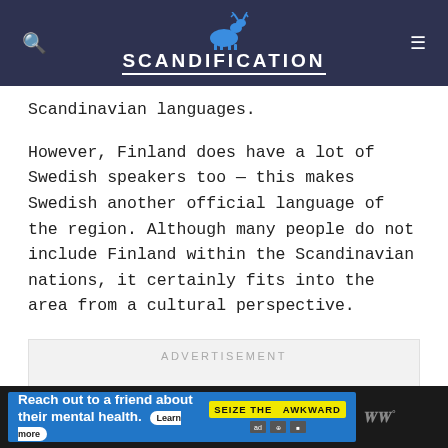SCANDIFICATION
Scandinavian languages.
However, Finland does have a lot of Swedish speakers too — this makes Swedish another official language of the region. Although many people do not include Finland within the Scandinavian nations, it certainly fits into the area from a cultural perspective.
[Figure (infographic): ADVERTISEMENT placeholder box]
[Figure (infographic): Bottom banner ad: Reach out to a friend about their mental health. Learn more. SEIZE THE AWKWARD badge.]